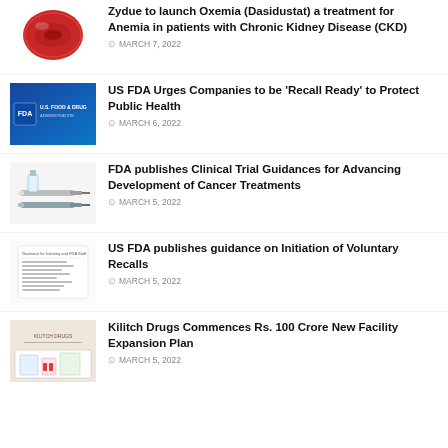[Figure (photo): Red blood cell close-up image]
Zydue to launch Oxemia (Dasidustat) a treatment for Anemia in patients with Chronic Kidney Disease (CKD)
MARCH 7, 2022
[Figure (photo): US Food & Drug Administration blue banner logo]
US FDA Urges Companies to be 'Recall Ready' to Protect Public Health
MARCH 6, 2022
[Figure (photo): Medical syringes and vials on white background]
FDA publishes Clinical Trial Guidances for Advancing Development of Cancer Treatments
MARCH 5, 2022
[Figure (photo): FDA guidance document screenshot]
US FDA publishes guidance on Initiation of Voluntary Recalls
MARCH 5, 2022
[Figure (photo): Kilitch Drugs facility with pharmaceutical equipment]
Kilitch Drugs Commences Rs. 100 Crore New Facility Expansion Plan
MARCH 5, 2022